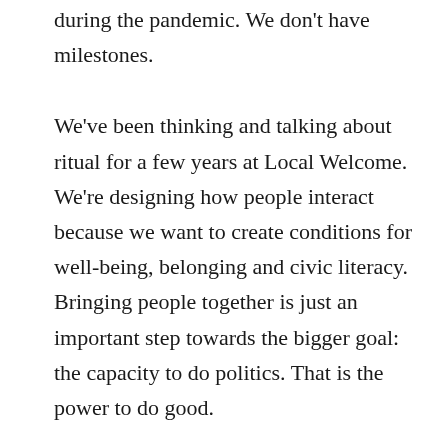during the pandemic. We don't have milestones.
We've been thinking and talking about ritual for a few years at Local Welcome. We're designing how people interact because we want to create conditions for well-being, belonging and civic literacy. Bringing people together is just an important step towards the bigger goal: the capacity to do politics. That is the power to do good.
Rituals have been a powerful way of